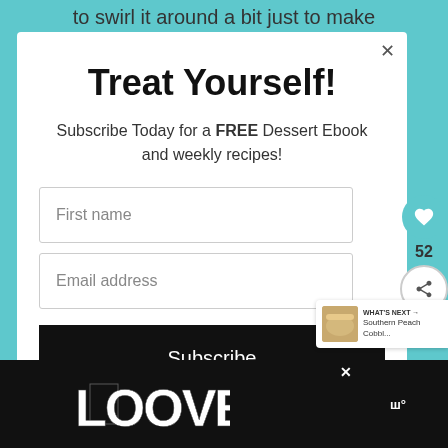to swirl it around a bit just to make
Treat Yourself!
Subscribe Today for a FREE Dessert Ebook and weekly recipes!
First name
Email address
Subscribe
52
WHAT'S NEXT → Southern Peach Cobbl...
[Figure (logo): LOOVE stylized logo in black and white]
ш°